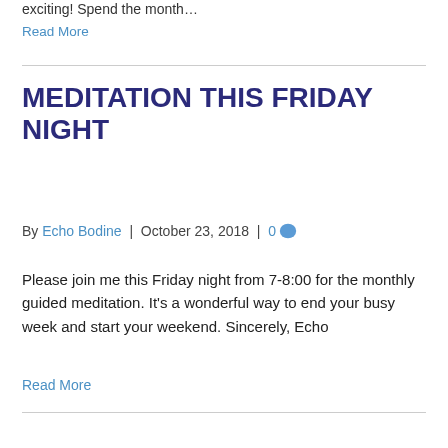exciting! Spend the month...
Read More
MEDITATION THIS FRIDAY NIGHT
By Echo Bodine | October 23, 2018 | 0
Please join me this Friday night from 7-8:00 for the monthly guided meditation. It's a wonderful way to end your busy week and start your weekend. Sincerely, Echo
Read More